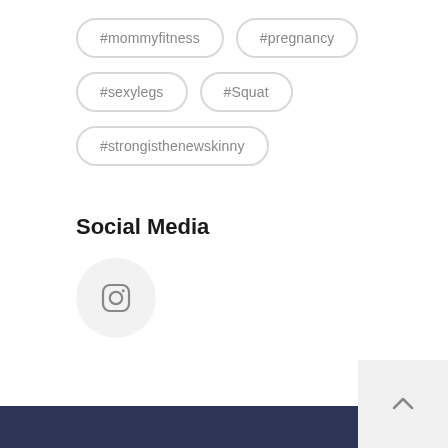#mommyfitness
#pregnancy
#sexylegs
#Squat
#strongisthenewskinny
Social Media
[Figure (logo): Instagram logo icon inside a light gray circle]